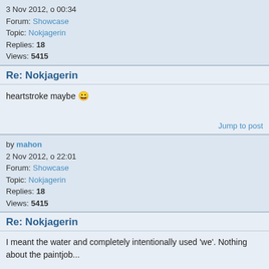3 Nov 2012, o 00:34
Forum: Showcase
Topic: Nokjagerin
Replies: 18
Views: 5415
Re: Nokjagerin
heartstroke maybe 😀
Jump to post
by mahon
2 Nov 2012, o 22:01
Forum: Showcase
Topic: Nokjagerin
Replies: 18
Views: 5415
Re: Nokjagerin
I meant the water and completely intentionally used 'we'. Nothing about the paintjob...

@Nameless - even geniuses can miss sometimes 😀
Jump to post
by mahon
2 Nov 2012, o 17:59
Forum: Showcase
Topic: Nokjagerin
Replies: 18
Views: 5415